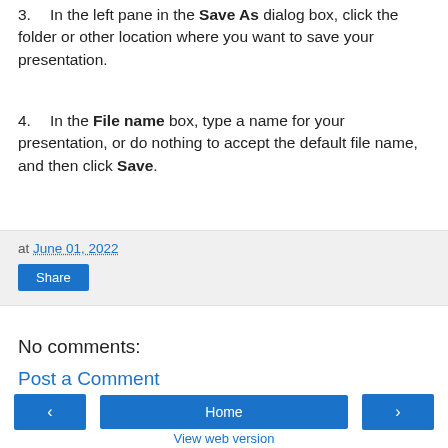3. In the left pane in the Save As dialog box, click the folder or other location where you want to save your presentation.
4. In the File name box, type a name for your presentation, or do nothing to accept the default file name, and then click Save.
at June 01, 2022
Share
No comments:
Post a Comment
‹  Home  ›  View web version